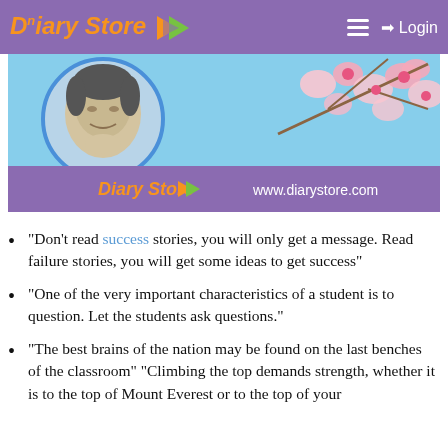Diary Store | Login
[Figure (illustration): Diary Store banner with a pencil sketch portrait of APJ Abdul Kalam in a circle on the left, cherry blossom flowers on a blue sky background on the right, and a purple strip at the bottom showing 'Diary Store' logo and 'www.diarystore.com']
“Don’t read success stories, you will only get a message. Read failure stories, you will get some ideas to get success”
“One of the very important characteristics of a student is to question. Let the students ask questions.”
“The best brains of the nation may be found on the last benches of the classroom” “Climbing the top demands strength, whether it is to the top of Mount Everest or to the top of your